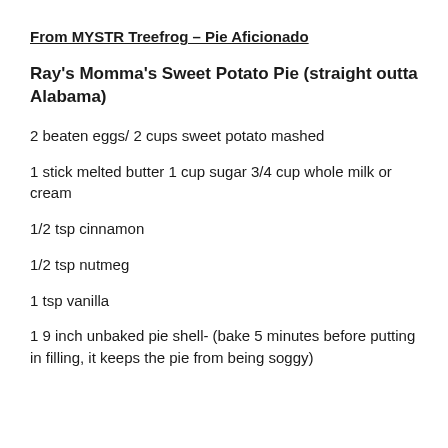From MYSTR Treefrog – Pie Aficionado
Ray's Momma's Sweet Potato Pie (straight outta Alabama)
2 beaten eggs/ 2 cups sweet potato mashed
1 stick melted butter 1 cup sugar 3/4 cup whole milk or cream
1/2 tsp cinnamon
1/2 tsp nutmeg
1 tsp vanilla
1 9 inch unbaked pie shell- (bake 5 minutes before putting in filling, it keeps the pie from being soggy)